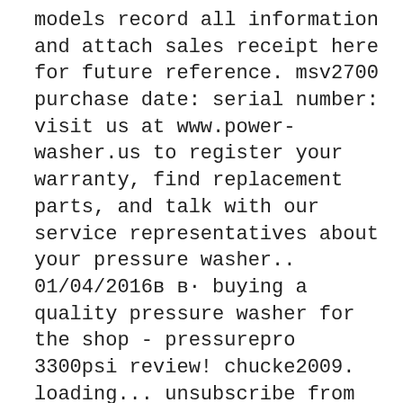models record all information and attach sales receipt here for future reference. msv2700 purchase date: serial number: visit us at www.power-washer.us to register your warranty, find replacement parts, and talk with our service representatives about your pressure washer.. 01/04/2016в в· buying a quality pressure washer for the shop - pressurepro 3300psi review! chucke2009. loading... unsubscribe from chucke2009? cancel unsubscribe. working... subscribe subscribed unsubscribe 591k.... 2020-09-27